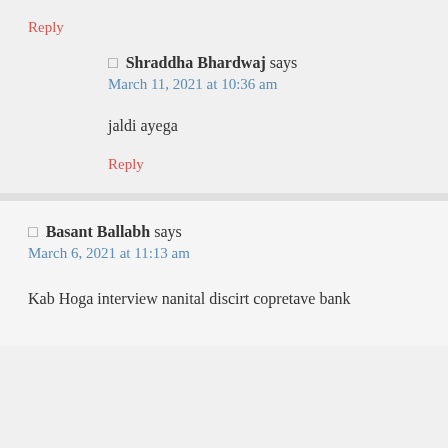Reply
🛡 Shraddha Bhardwaj says
March 11, 2021 at 10:36 am
jaldi ayega
Reply
🛡 Basant Ballabh says
March 6, 2021 at 11:13 am
Kab Hoga interview nanital discirt copretave bank